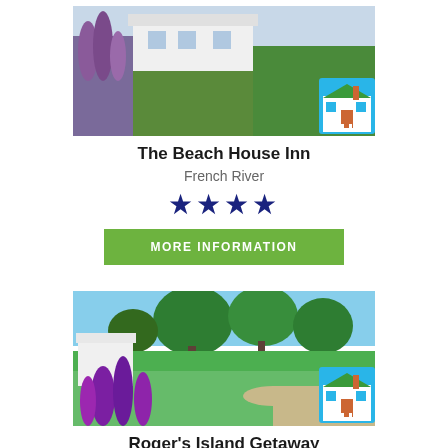[Figure (photo): Photo of The Beach House Inn with purple lupins in foreground and white building in background, with a small illustrated inn badge in lower right corner]
The Beach House Inn
French River
★★★★
MORE INFORMATION
[Figure (photo): Photo of Roger's Island Getaway with green lawn, trees, sky, and purple lupins in foreground, with a small illustrated inn badge in lower right corner]
Roger's Island Getaway
Indian River
★★★★
MORE INFORMATION